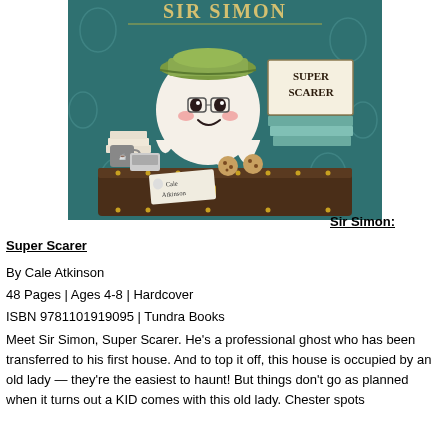[Figure (illustration): Book cover of 'Sir Simon: Super Scarer' by Cale Atkinson. Shows a cute cartoon ghost wearing a green cap, sitting behind a desk/trunk filled with papers, cookies, a typewriter, and a mug. The background is teal/dark green with decorative patterns. A sign reads 'SUPER SCARER'. The author's name 'Cale Atkinson' appears on a note in the lower left.]
Sir Simon: Super Scarer
By Cale Atkinson
48 Pages | Ages 4-8 | Hardcover
ISBN 9781101919095 | Tundra Books
Meet Sir Simon, Super Scarer. He's a professional ghost who has been transferred to his first house. And to top it off, this house is occupied by an old lady — they're the easiest to haunt! But things don't go as planned when it turns out a KID comes with this old lady. Chester spots